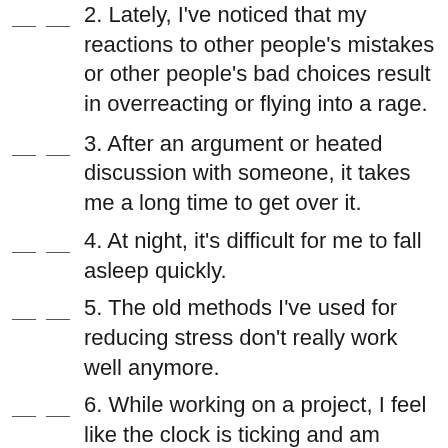2. Lately, I've noticed that my reactions to other people's mistakes or other people's bad choices result in overreacting or flying into a rage.
3. After an argument or heated discussion with someone, it takes me a long time to get over it.
4. At night, it's difficult for me to fall asleep quickly.
5. The old methods I've used for reducing stress don't really work well anymore.
6. While working on a project, I feel like the clock is ticking and am rushed to finish it in.